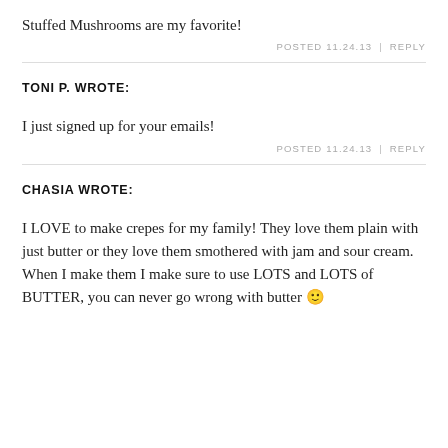Stuffed Mushrooms are my favorite!
POSTED 11.24.13 | REPLY
TONI P. WROTE:
I just signed up for your emails!
POSTED 11.24.13 | REPLY
CHASIA WROTE:
I LOVE to make crepes for my family! They love them plain with just butter or they love them smothered with jam and sour cream. When I make them I make sure to use LOTS and LOTS of BUTTER, you can never go wrong with butter 🙂